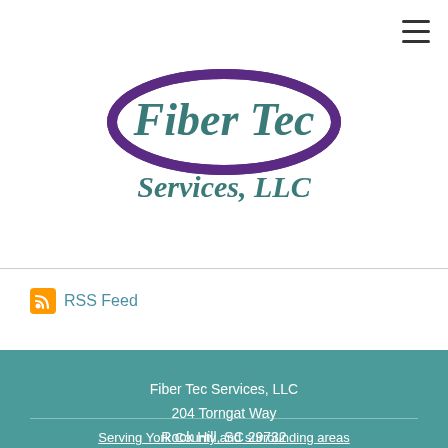[Figure (logo): Fiber Tec Services, LLC logo with purple oval/ellipse shape and teal italic text reading 'Fiber Tec' with 'Services, LLC' below]
RSS Feed
Fiber Tec Services, LLC
204 Torngat Way
Rock Hill, SC 29732
803-487-7476
Serving York County and surrounding areas